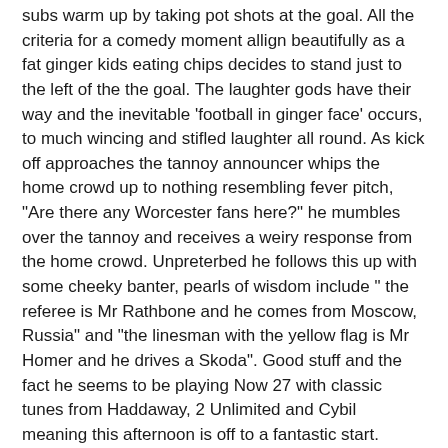subs warm up by taking pot shots at the goal. All the criteria for a comedy moment allign beautifully as a fat ginger kids eating chips decides to stand just to the left of the the goal. The laughter gods have their way and the inevitable 'football in ginger face' occurs, to much wincing and stifled laughter all round. As kick off approaches the tannoy announcer whips the home crowd up to nothing resembling fever pitch, "Are there any Worcester fans here?" he mumbles over the tannoy and receives a weiry response from the home crowd. Unpreterbed he follows this up with some cheeky banter, pearls of wisdom include " the referee is Mr Rathbone and he comes from Moscow, Russia" and "the linesman with the yellow flag is Mr Homer and he drives a Skoda". Good stuff and the fact he seems to be playing Now 27 with classic tunes from Haddaway, 2 Unlimited and Cybil meaning this afternoon is off to a fantastic start.
And it gets better, Weymouth are dominant and score after seven minutes.
Then it gets worse, as it often does as a Weymouth fan.